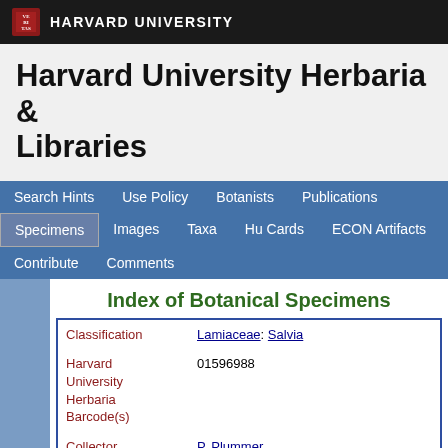HARVARD UNIVERSITY
Harvard University Herbaria & Libraries
Search Hints | Use Policy | Botanists | Publications | Specimens | Images | Taxa | Hu Cards | ECON Artifacts | Contribute | Comments
Index of Botanical Specimens
| Field | Value |
| --- | --- |
| Classification | Lamiaceae: Salvia |
| Harvard University Herbaria Barcode(s) | 01596988 |
| Collector | P. Plummer |
| Country | United States of America |
| State | Utah |
| Geography | North America: North America (CA, US, MX) (Region): United States of America: Utah: Beaver County |